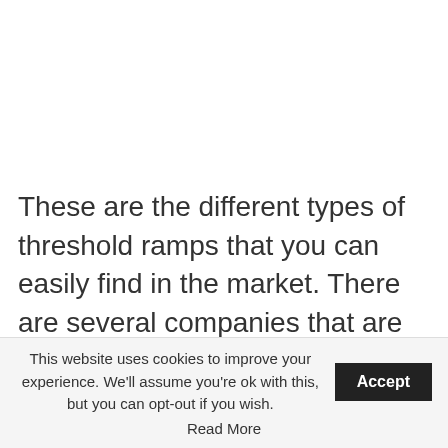These are the different types of threshold ramps that you can easily find in the market. There are several companies that are dealing with threshold ramps. If you are looking for a threshold ramp, you must check out the EZ Access website, they have the finest collection of
This website uses cookies to improve your experience. We'll assume you're ok with this, but you can opt-out if you wish. Accept Read More